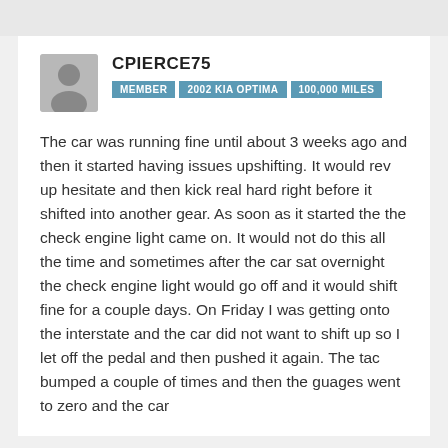CPIERCE75
MEMBER | 2002 KIA OPTIMA | 100,000 MILES
The car was running fine until about 3 weeks ago and then it started having issues upshifting. It would rev up hesitate and then kick real hard right before it shifted into another gear. As soon as it started the the check engine light came on. It would not do this all the time and sometimes after the car sat overnight the check engine light would go off and it would shift fine for a couple days. On Friday I was getting onto the interstate and the car did not want to shift up so I let off the pedal and then pushed it again. The tac bumped a couple of times and then the guages went to zero and the car